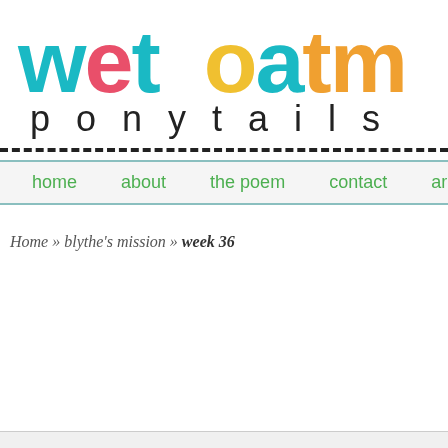wet oatm ponytails
home   about   the poem   contact   archives   favorite p
Home » blythe's mission » week 36